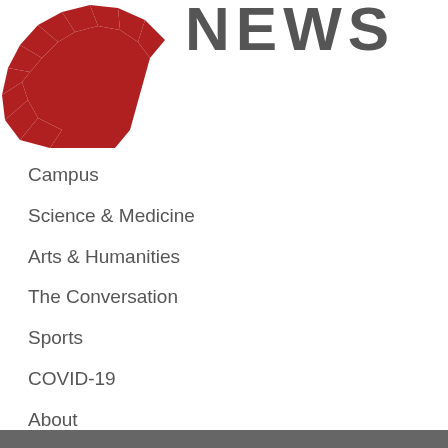[Figure (logo): University news logo with red starburst/sunburst graphic on the left and 'NEWS' text in large grey letters on the right]
Campus
Science & Medicine
Arts & Humanities
The Conversation
Sports
COVID-19
About
Key Issues